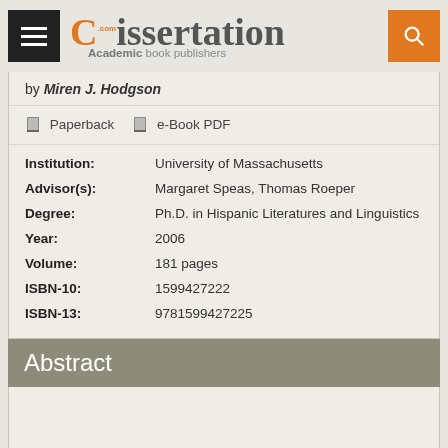dissertation.com – Academic book publishers
by Miren J. Hodgson
📖 Paperback  📖 e-Book PDF
| Field | Value |
| --- | --- |
| Institution: | University of Massachusetts |
| Advisor(s): | Margaret Speas, Thomas Roeper |
| Degree: | Ph.D. in Hispanic Literatures and Linguistics |
| Year: | 2006 |
| Volume: | 181 pages |
| ISBN-10: | 1599427222 |
| ISBN-13: | 9781599427225 |
Abstract